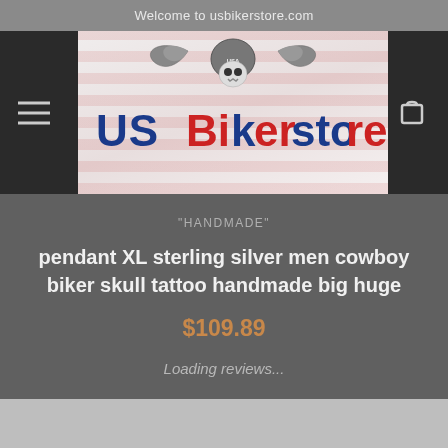Welcome to usbikerstore.com
[Figure (logo): US Bikerstore logo with skull wearing helmet with wings, American flag style lettering reading 'US Bikerstore']
"HANDMADE"
pendant XL sterling silver men cowboy biker skull tattoo handmade big huge
$109.89
Loading reviews...